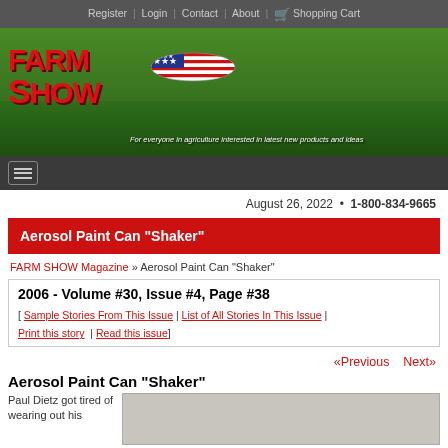Register | Login | Contact | About | Shopping Cart
[Figure (screenshot): Farm Show Magazine banner with red FARM SHOW logo, corn field background, American flag corn badge, and tagline 'For everyone in agriculture interested in latest new products and ideas']
August 26, 2022 • 1-800-834-9665
Aerosol Paint Can "Shaker"
FARM SHOW Magazine » Aerosol Paint Can "Shaker"
2006 - Volume #30, Issue #4, Page #38
[ Sample Stories From This Issue | List of All Stories In This Issue | Print this story | Read this issue]
«Previous  Next»
Aerosol Paint Can "Shaker"
Paul Dietz got tired of wearing out his